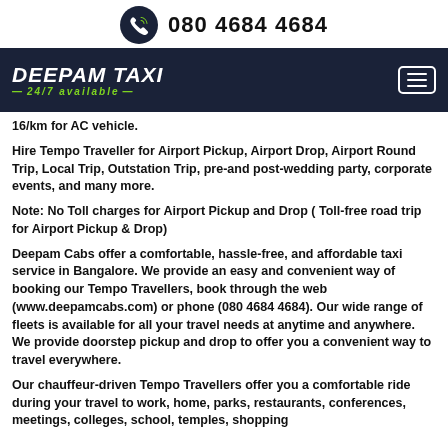080 4684 4684
[Figure (logo): Deepam Taxi logo with 24/7 available tagline on dark navy background, with hamburger menu icon]
16/km for AC vehicle.
Hire Tempo Traveller for Airport Pickup, Airport Drop, Airport Round Trip, Local Trip, Outstation Trip, pre-and post-wedding party, corporate events, and many more.
Note: No Toll charges for Airport Pickup and Drop ( Toll-free road trip for Airport Pickup & Drop)
Deepam Cabs offer a comfortable, hassle-free, and affordable taxi service in Bangalore. We provide an easy and convenient way of booking our Tempo Travellers, book through the web (www.deepamcabs.com) or phone (080 4684 4684). Our wide range of fleets is available for all your travel needs at anytime and anywhere. We provide doorstep pickup and drop to offer you a convenient way to travel everywhere.
Our chauffeur-driven Tempo Travellers offer you a comfortable ride during your travel to work, home, parks, restaurants, conferences, meetings, colleges, school, temples, shopping